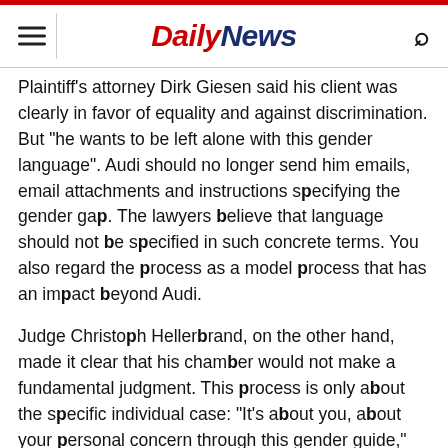Daily News
Plaintiff's attorney Dirk Giesen said his client was clearly in favor of equality and against discrimination. But "he wants to be left alone with this gender language". Audi should no longer send him emails, email attachments and instructions specifying the gender gap. The lawyers believe that language should not be specified in such concrete terms. You also regard the process as a model process that has an impact beyond Audi.
Judge Christoph Hellerbrand, on the other hand, made it clear that his chamber would not make a fundamental judgment. This process is only about the specific individual case: "It's about you, about your personal concern through this gender guide," he told the VW employee.